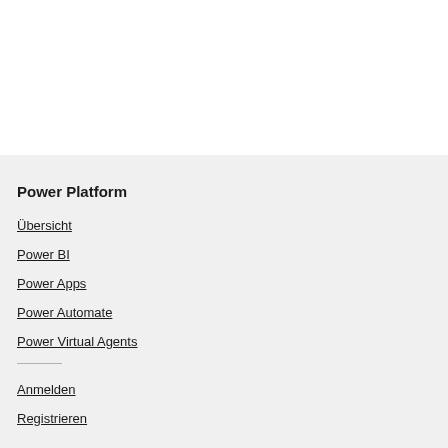Power Platform
Übersicht
Power BI
Power Apps
Power Automate
Power Virtual Agents
Anmelden
Registrieren